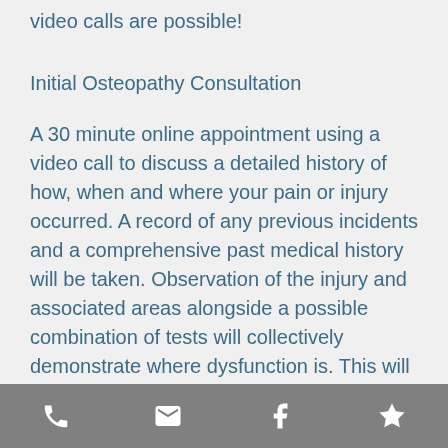video calls are possible!
Initial Osteopathy Consultation
A 30 minute online appointment using a video call to discuss a detailed history of how, when and where your pain or injury occurred. A record of any previous incidents and a comprehensive past medical history will be taken. Observation of the injury and associated areas alongside a possible combination of tests will collectively demonstrate where dysfunction is. This will alter dependant on ability and where the issue is located on the body. Further advice and guidance will be given such